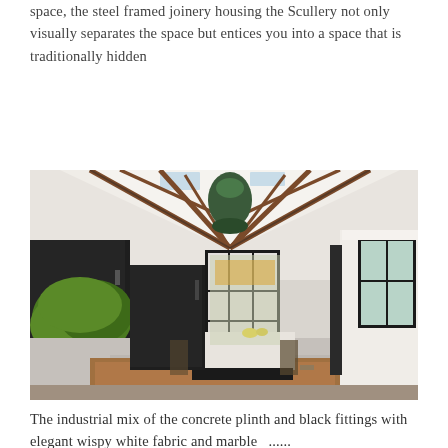space, the steel framed joinery housing the Scullery not only visually separates the space but entices you into a space that is traditionally hidden
[Figure (photo): Interior photo of a modern open-plan kitchen with black cabinetry, exposed timber roof trusses, steel-framed glass partition, concrete floor, central island with marble top, green plant, and large windows to the right.]
The industrial mix of the concrete plinth and black fittings with elegant wispy white fabric and marble  ......